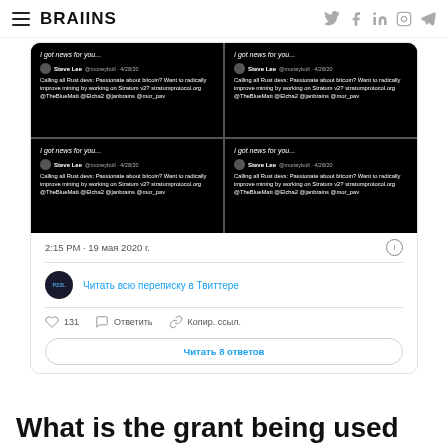BRAIINS
[Figure (screenshot): A Twitter/X tweet card showing a 2x2 grid of dark-mode tweet screenshots from Steve Lee (@moneybull) dated 4/28/20, calling all Rust devs, passionate about bitcoin, to work on Stratum v2 stratumprotocol.org, tagging @TheBlueMatt @Elcha2 @janbrains @mor_pav. Timestamp: 2:15 PM · 19 мая 2020 г. Includes a profile avatar, link 'Читать всю переписку в Твиттере', likes count 131, reply and copy link actions, and a 'Читать 8 ответов' button.]
What is the grant being used